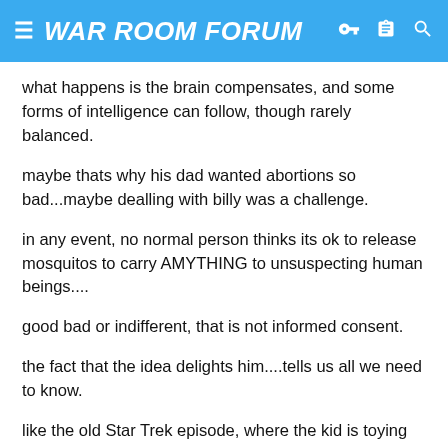WAR ROOM FORUM
what happens is the brain compensates, and some forms of intelligence can follow, though rarely balanced.
maybe thats why his dad wanted abortions so bad...maybe dealling with billy was a challenge.
in any event, no normal person thinks its ok to release mosquitos to carry AMYTHING to unsuspecting human beings....
good bad or indifferent, that is not informed consent.
the fact that the idea delights him....tells us all we need to know.
like the old Star Trek episode, where the kid is toying with the humans, and his high powered entity parents have to stop him...as to him, humans are just like flies meant to be roasted for fun.